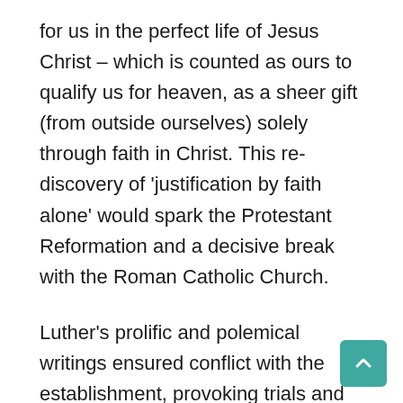for us in the perfect life of Jesus Christ – which is counted as ours to qualify us for heaven, as a sheer gift (from outside ourselves) solely through faith in Christ. This re-discovery of 'justification by faith alone' would spark the Protestant Reformation and a decisive break with the Roman Catholic Church.
Luther's prolific and polemical writings ensured conflict with the establishment, provoking trials and dangerous threats to his life and liberty. Nevertheless, from his pen came sermons, songs, catechisms and commentaries that launched and inspired the European reformation – a seismic theological and social revolution. He championed